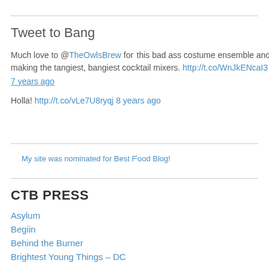Tweet to Bang
Much love to @TheOwlsBrew for this bad ass costume ensemble and making the tangiest, bangiest cocktail mixers. http://t.co/WnJkENcaI3
7 years ago
Holla! http://t.co/vLe7U8ryqj 8 years ago
[Figure (other): Broken image: My site was nominated for Best Food Blog!]
CTB PRESS
Asylum
Begiin
Behind the Burner
Brightest Young Things – DC